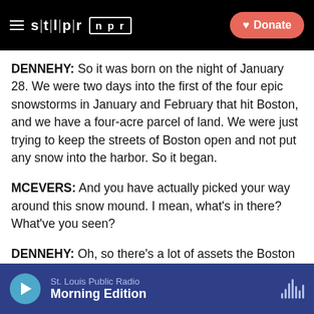STLPR NPR — Donate
DENNEHY: So it was born on the night of January 28. We were two days into the first of the four epic snowstorms in January and February that hit Boston, and we have a four-acre parcel of land. We were just trying to keep the streets of Boston open and not put any snow into the harbor. So it began.
MCEVERS: And you have actually picked your way around this snow mound. I mean, what's in there? What've you seen?
DENNEHY: Oh, so there's a lot of assets the Boston Water and Sewer Commission will be looking for us to return to them. There were some storm drain covers
St. Louis Public Radio — Morning Edition